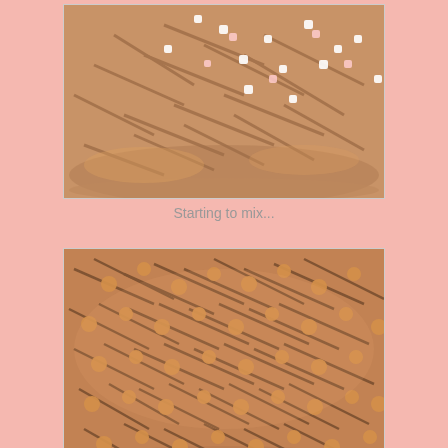[Figure (photo): A bowl showing the beginning of mixing a snack mixture with pretzel sticks, peanut butter coating, and small marshmallows starting to be incorporated]
Starting to mix...
[Figure (photo): A bowl showing the snack mixture fully mixed - pretzel sticks and round peanut butter or butterscotch coated puffed corn pieces thoroughly combined]
Mixed thoroughly!